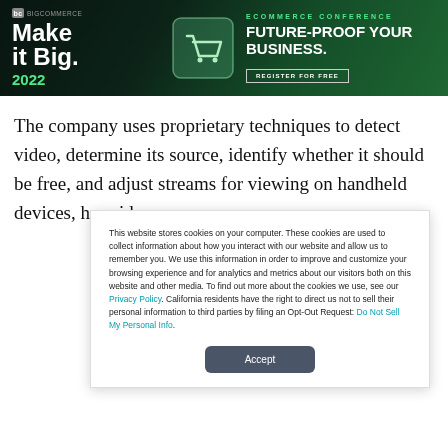[Figure (illustration): BigCommerce 'Make it Big 2022' ecommerce conference banner advertisement with shopping cart icon on dark green background. Text: ECOMMERCE CONFERENCE, FUTURE-PROOF YOUR BUSINESS., REGISTER FOR FREE button.]
The company uses proprietary techniques to detect video, determine its source, identify whether it should be free, and adjust streams for viewing on handheld devices, he said.
This website stores cookies on your computer. These cookies are used to collect information about how you interact with our website and allow us to remember you. We use this information in order to improve and customize your browsing experience and for analytics and metrics about our visitors both on this website and other media. To find out more about the cookies we use, see our Privacy Policy. California residents have the right to direct us not to sell their personal information to third parties by filing an Opt-Out Request: Do Not Sell My Personal Info.